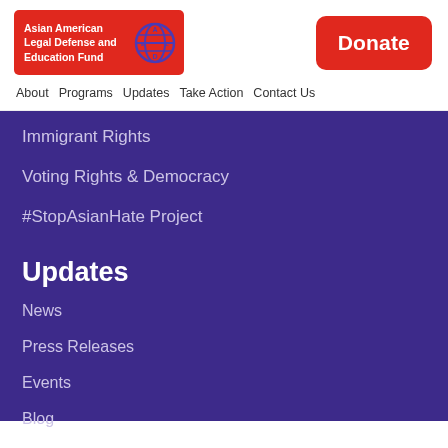[Figure (logo): Asian American Legal Defense and Education Fund logo with red background and circular globe emblem]
[Figure (other): Donate button in red with white text]
About  Programs  Updates  Take Action  Contact Us
Immigrant Rights
Voting Rights & Democracy
#StopAsianHate Project
Updates
News
Press Releases
Events
Blog